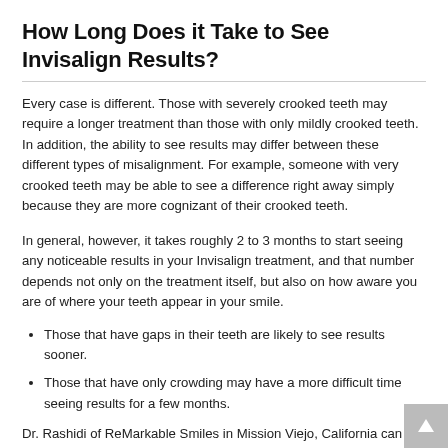How Long Does it Take to See Invisalign Results?
Every case is different. Those with severely crooked teeth may require a longer treatment than those with only mildly crooked teeth. In addition, the ability to see results may differ between these different types of misalignment. For example, someone with very crooked teeth may be able to see a difference right away simply because they are more cognizant of their crooked teeth.
In general, however, it takes roughly 2 to 3 months to start seeing any noticeable results in your Invisalign treatment, and that number depends not only on the treatment itself, but also on how aware you are of where your teeth appear in your smile.
Those that have gaps in their teeth are likely to see results sooner.
Those that have only crowding may have a more difficult time seeing results for a few months.
Dr. Rashidi of ReMarkable Smiles in Mission Viejo, California can also